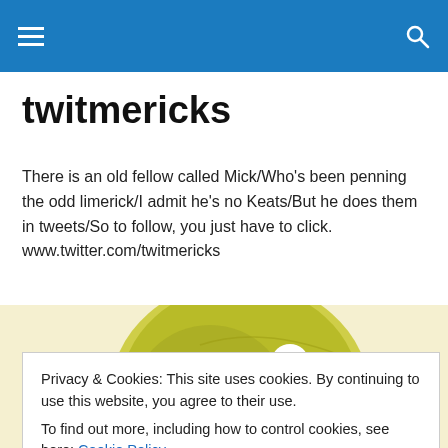twitmericks navigation header
twitmericks
There is an old fellow called Mick/Who's been penning the odd limerick/I admit he's no Keats/But he does them in tweets/So to follow, you just have to click. www.twitter.com/twitmericks
[Figure (illustration): A cartoon/watercolor illustration of a yellow-green bird looking sideways, close-up on head and beak, against a pale yellow background]
Privacy & Cookies: This site uses cookies. By continuing to use this website, you agree to their use.
To find out more, including how to control cookies, see here: Cookie Policy
Close and accept